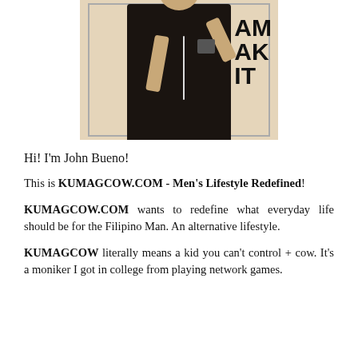[Figure (photo): Mirror selfie of a person wearing a black t-shirt holding a camera, with letters 'AM AK IT' visible on the right wall]
Hi! I'm John Bueno!
This is KUMAGCOW.COM - Men's Lifestyle Redefined!
KUMAGCOW.COM wants to redefine what everyday life should be for the Filipino Man. An alternative lifestyle.
KUMAGCOW literally means a kid you can't control + cow. It's a moniker I got in college from playing network games.